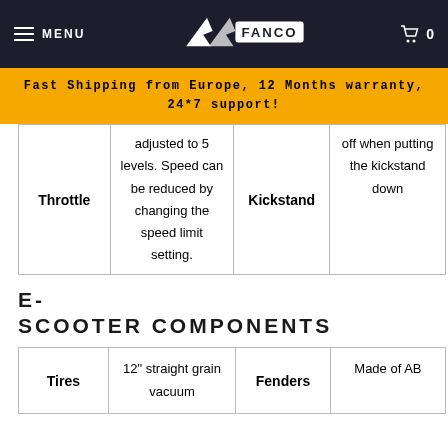MENU | FANCO | 0
Fast Shipping from Europe, 12 Months warranty, 24*7 support!
|  |  |  |  |
| --- | --- | --- | --- |
| Throttle | adjusted to 5 levels. Speed can be reduced by changing the speed limit setting. | Kickstand | off when putting the kickstand down |
E-SCOOTER COMPONENTS
|  |  |  |  |
| --- | --- | --- | --- |
| Tires | 12" straight grain vacuum | Fenders | Made of AB |